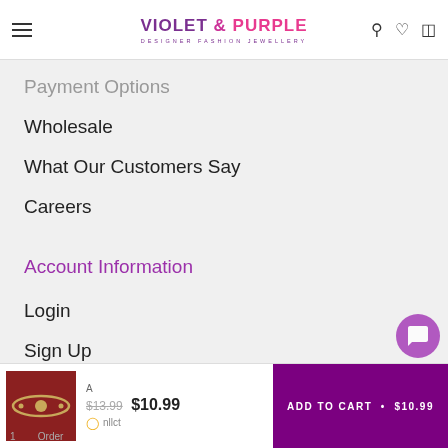Violet & Purple — Designer Fashion Jewellery
Payment Options
Wholesale
What Our Customers Say
Careers
Account Information
Login
Sign Up
[Figure (screenshot): Bottom sticky bar with product image (gold bracelet on red background), crossed-out price $13.99, sale price $10.99, and purple ADD TO CART button showing $10.99]